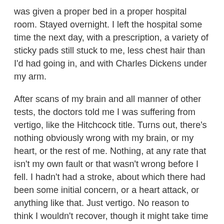was given a proper bed in a proper hospital room. Stayed overnight. I left the hospital some time the next day, with a prescription, a variety of sticky pads still stuck to me, less chest hair than I'd had going in, and with Charles Dickens under my arm.
After scans of my brain and all manner of other tests, the doctors told me I was suffering from vertigo, like the Hitchcock title. Turns out, there's nothing obviously wrong with my brain, or my heart, or the rest of me. Nothing, at any rate that isn't my own fault or that wasn't wrong before I fell. I hadn't had a stroke, about which there had been some initial concern, or a heart attack, or anything like that. Just vertigo. No reason to think I wouldn't recover, though it might take time to right me altogether, even with the pills, or that I might not have this same unhappy experience again some day.
"It happens," the doctor told me, not unkindly, "sometimes when people get a little older, it just happens."
When the husband was packing me an overnight bag to bring to the hospital, he thought to bring me my clothes,